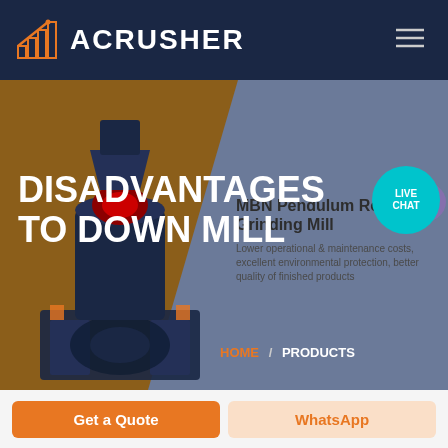ACRUSHER
DISADVANTAGES TO DOWN MILL
[Figure (screenshot): Industrial grinding mill machine shown in dark navy/orange colors, positioned on the left side of the hero section]
MBN Pendulum Roller Grinding Mill
Lower operational & maintenance costs, excellent environmental protection, better quality of finished products
HOME / PRODUCTS
Get a Quote
WhatsApp